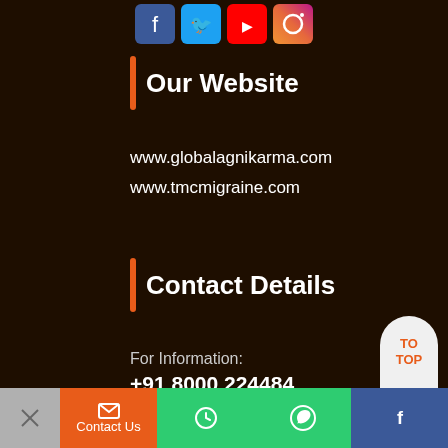[Figure (illustration): Social media icons: Facebook, Twitter, YouTube, Instagram at the top of the page]
Our Website
www.globalagnikarma.com
www.tmcmigraine.com
Contact Details
For Information:
+91 8000 224484
For Appointments:
+91 80000 24284
[Figure (other): TO TOP button - orange text on white rounded shape]
Contact Us | Phone | WhatsApp | Facebook